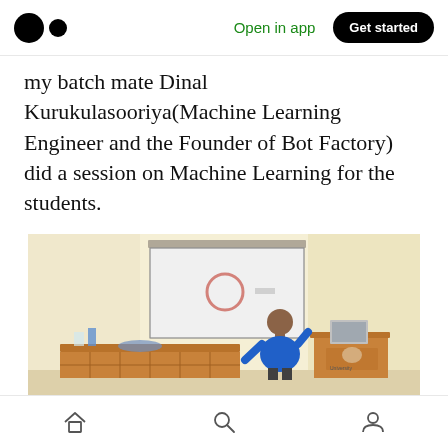Medium logo | Open in app | Get started
my batch mate Dinal Kurukulasooriya(Machine Learning Engineer and the Founder of Bot Factory) did a session on Machine Learning for the students.
[Figure (photo): A man in a blue shirt presenting in front of a projector screen showing a red circle logo in a room with cream-colored walls, a wooden desk on the left, and a wooden podium with a laptop on the right.]
Home | Search | Profile